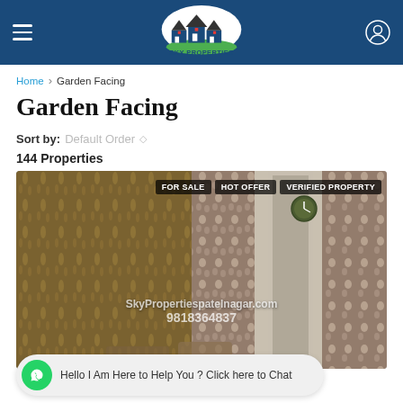Sky Properties — navigation header with logo and hamburger menu
Home > Garden Facing
Garden Facing
Sort by: Default Order
144 Properties
[Figure (photo): Interior room photo showing decorative wallpaper and floral curtains. Badges: FOR SALE, HOT OFFER, VERIFIED PROPERTY. Watermark: SkyPropertiespatelnagar.com 9818364837]
Hello I Am Here to Help You ? Click here to Chat